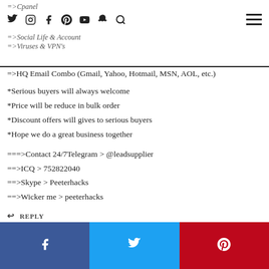=>Cpanel
=>Social Life & Account
=>Viruses & VPN's
=>HQ Email Combo (Gmail, Yahoo, Hotmail, MSN, AOL, etc.)
*Serious buyers will always welcome
*Price will be reduce in bulk order
*Discount offers will gives to serious buyers
*Hope we do a great business together
===>Contact 24/7Telegram > @leadsupplier
==>ICQ > 752822040
==>Skype > Peeterhacks
==>Wicker me > peeterhacks
REPLY
ALEXANDER SOMMER
04/04/2022 / 11:57 PM
Facebook | Twitter | Pinterest